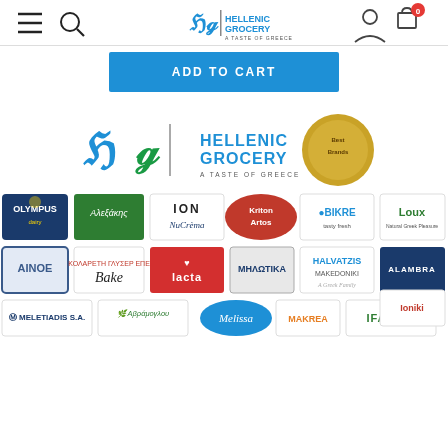Hellenic Grocery – A Taste of Greece navigation bar with hamburger menu, search, logo, user account and cart (0 items)
[Figure (screenshot): Blue 'ADD TO CART' button]
[Figure (logo): Hellenic Grocery banner showing the HG logo with 'Best Brands' badge and logos of Greek food brands: Olympus, Alexakis, ION NuCrema, Kriton Artos, Bikre, Loux, Ainos, Bake, Lacta, Meliota, Halvatzis Makedoniki, Alambra, Ioniki, Meletiadis, Avramoglou, Melissa, Makrea, Ifantis]